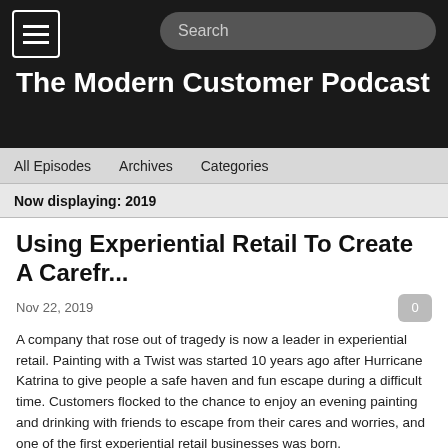The Modern Customer Podcast
All Episodes   Archives   Categories
Now displaying: 2019
Using Experiential Retail To Create A Carefr...
Nov 22, 2019
A company that rose out of tragedy is now a leader in experiential retail. Painting with a Twist was started 10 years ago after Hurricane Katrina to give people a safe haven and fun escape during a difficult time. Customers flocked to the chance to enjoy an evening painting and drinking with friends to escape from their cares and worries, and one of the first experiential retail businesses was born.
Today, Painting with a Twist has more than 300 locations across the country and has created the sip and paint industry. The company encourages groups